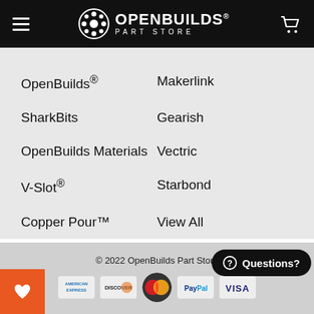OpenBuilds Part Store
OpenBuilds®
Makerlink
SharkBits
Gearish
OpenBuilds Materials
Vectric
V-Slot®
Starbond
Copper Pour™
View All
© 2022 OpenBuilds Part Store
[Figure (logo): Payment method logos: American Express, Discover, MasterCard, PayPal, Visa]